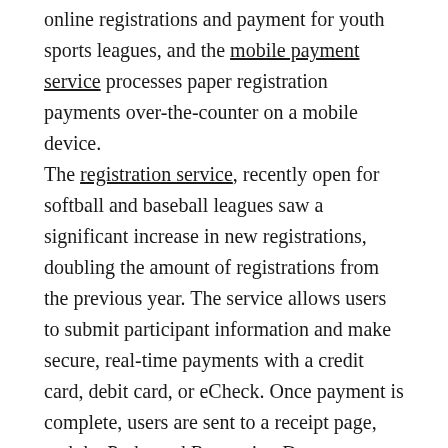online registrations and payment for youth sports leagues, and the mobile payment service processes paper registration payments over-the-counter on a mobile device. The registration service, recently open for softball and baseball leagues saw a significant increase in new registrations, doubling the amount of registrations from the previous year. The service allows users to submit participant information and make secure, real-time payments with a credit card, debit card, or eCheck. Once payment is complete, users are sent to a receipt page, and the Parks and Recreation Department receives notification. The system's robust administrative module gives staff access to set costs and late registration dates, send notifications, print lists or name badges, and duplicate or edit previously created events